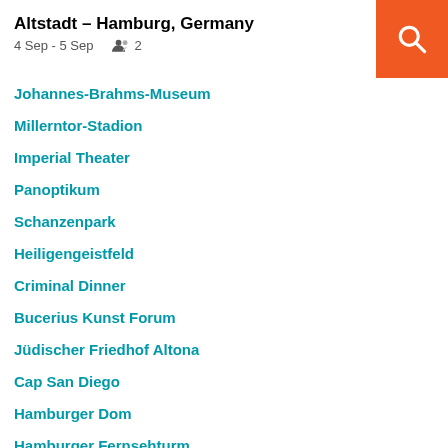Altstadt – Hamburg, Germany
4 Sep - 5 Sep   2
Johannes-Brahms-Museum
Millerntor-Stadion
Imperial Theater
Panoptikum
Schanzenpark
Heiligengeistfeld
Criminal Dinner
Bucerius Kunst Forum
Jüdischer Friedhof Altona
Cap San Diego
Hamburger Dom
Hamburger Fernsehturm
Venues in Hamburg
Hamburg Messe and Congress